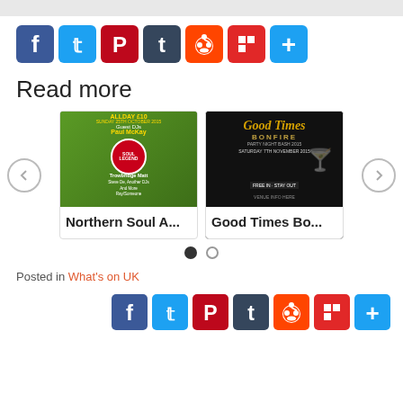[Figure (screenshot): Social share buttons row: Facebook (blue), Twitter (light blue), Pinterest (red), Tumblr (dark slate), Reddit (orange-red), Flipboard (red), Share/Plus (blue)]
Read more
[Figure (screenshot): Carousel with two article cards: 'Northern Soul A...' with a green event flyer thumbnail, and 'Good Times Bo...' with a dark event flyer thumbnail. Navigation arrows on left and right. Two pagination dots below.]
Posted in What's on UK
[Figure (screenshot): Social share buttons row at bottom: Facebook (blue), Twitter (light blue), Pinterest (red), Tumblr (dark slate), Reddit (orange-red), Flipboard (red), Share/Plus (blue)]